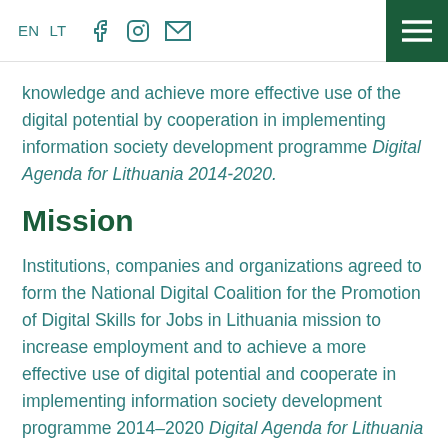EN  LT  [facebook] [instagram] [email] [menu]
knowledge and achieve more effective use of the digital potential by cooperation in implementing information society development programme Digital Agenda for Lithuania 2014-2020.
Mission
Institutions, companies and organizations agreed to form the National Digital Coalition for the Promotion of Digital Skills for Jobs in Lithuania mission to increase employment and to achieve a more effective use of digital potential and cooperate in implementing information society development programme 2014–2020 Digital Agenda for Lithuania